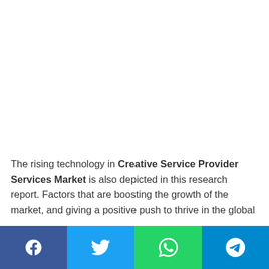The rising technology in Creative Service Provider Services Market is also depicted in this research report. Factors that are boosting the growth of the market, and giving a positive push to thrive in the global market is explained in detail. The study considers the present scenario of the data center power market and its market dynamics for the period 2022-2028. It
Social share bar: Facebook, Twitter, WhatsApp, Telegram